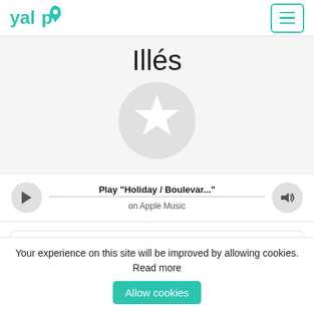yalp
Illés
[Figure (illustration): Circular grey avatar placeholder with a white star icon in the center]
[Figure (other): Music player bar with play button, track title 'Play "Holiday / Boulevar..."', 'on Apple Music' subtitle, and a volume button]
Search songs by Illés
Your experience on this site will be improved by allowing cookies. Read more
Allow cookies